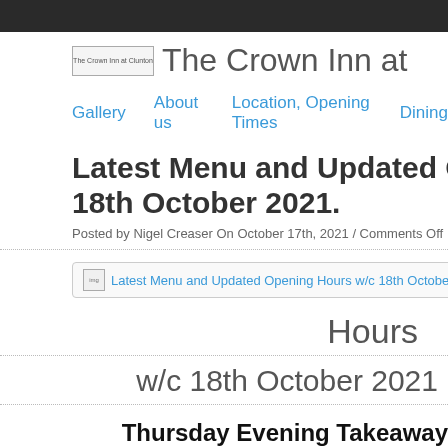The Crown Inn at Clunton
Gallery | About us | Location, Opening Times | Dining
Latest Menu and Updated Opening Hours w/c 18th October 2021.
Posted by Nigel Creaser On October 17th, 2021 / Comments Off
[Figure (photo): Latest Menu and Updated Opening Hours w/c 18th October 2021.]
Hours
w/c 18th October 2021
Thursday Evening Takeaway